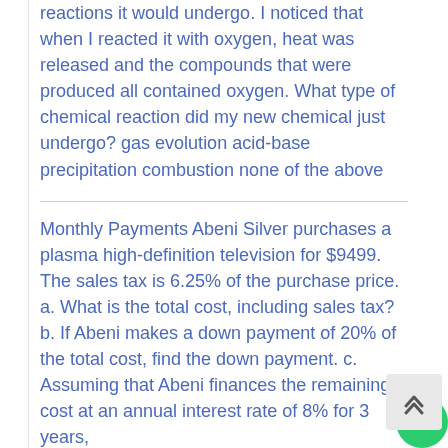reactions it would undergo. I noticed that when I reacted it with oxygen, heat was released and the compounds that were produced all contained oxygen. What type of chemical reaction did my new chemical just undergo? gas evolution acid-base precipitation combustion none of the above
Monthly Payments Abeni Silver purchases a plasma high-definition television for $9499. The sales tax is 6.25% of the purchase price. a. What is the total cost, including sales tax? b. If Abeni makes a down payment of 20% of the total cost, find the down payment. c. Assuming that Abeni finances the remaining cost at an annual interest rate of 8% for 3 years,